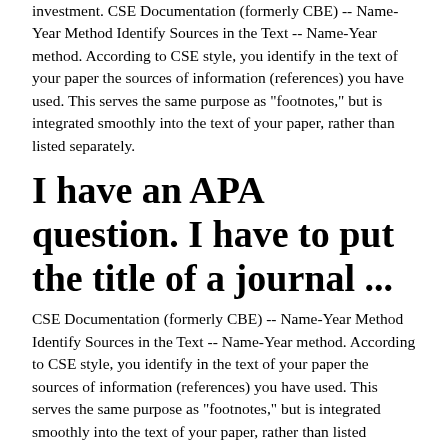investment. CSE Documentation (formerly CBE) -- Name-Year Method Identify Sources in the Text -- Name-Year method. According to CSE style, you identify in the text of your paper the sources of information (references) you have used. This serves the same purpose as "footnotes," but is integrated smoothly into the text of your paper, rather than listed separately.
I have an APA question. I have to put the title of a journal ...
CSE Documentation (formerly CBE) -- Name-Year Method Identify Sources in the Text -- Name-Year method. According to CSE style, you identify in the text of your paper the sources of information (references) you have used. This serves the same purpose as "footnotes," but is integrated smoothly into the text of your paper, rather than listed separately. Name a Star – Includes Certificate & Registry The Star-naming Registry. We have officially partnered with the Star-naming registry, which regularly